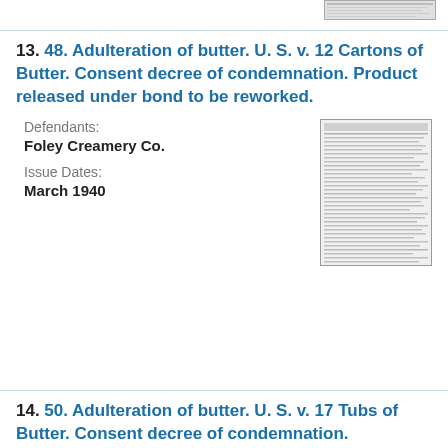[Figure (other): Small thumbnail image of a document at top right corner]
13. 48. Adulteration of butter. U. S. v. 12 Cartons of Butter. Consent decree of condemnation. Product released under bond to be reworked. Defendants: Foley Creamery Co. Issue Dates: March 1940
[Figure (other): Thumbnail image of a legal document page]
14. 50. Adulteration of butter. U. S. v. 17 Tubs of Butter. Consent decree of condemnation.